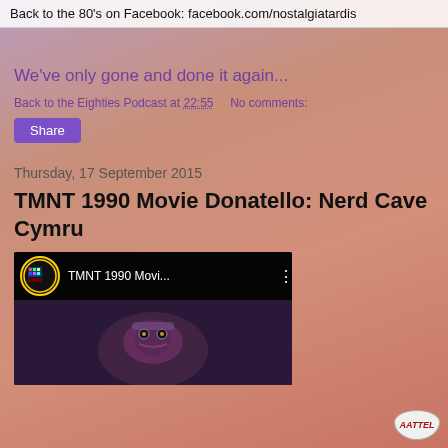Back to the 80's on Facebook: facebook.com/nostalgiatardis
We've only gone and done it again...
Back to the Eighties Podcast at 22:55    No comments:
Share
Thursday, 17 September 2015
TMNT 1990 Movie Donatello: Nerd Cave Cymru
[Figure (screenshot): YouTube video thumbnail showing TMNT 1990 Movi... with a Donatello character visible in the preview frame and a play button overlay]